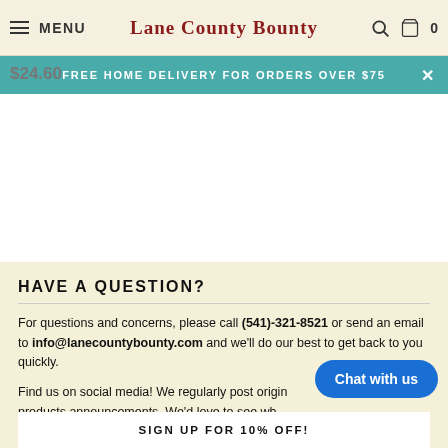≡ MENU   Lane County Bounty   🔍  🛒 0
FREE HOME DELIVERY FOR ORDERS OVER $75
$24.60
HAVE A QUESTION?
For questions and concerns, please call (541)-321-8521 or send an email to info@lanecountybounty.com and we'll do our best to get back to you quickly.
Find us on social media! We regularly post original products announcements. We'd love to see wh…
Chat with us
SIGN UP FOR 10% OFF!